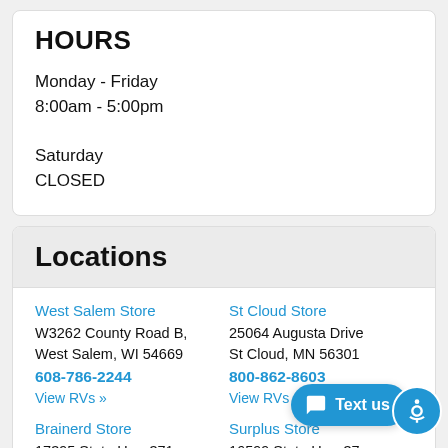HOURS
Monday - Friday
8:00am - 5:00pm

Saturday
CLOSED
Locations
West Salem Store
W3262 County Road B,
West Salem, WI 54669
608-786-2244
View RVs »
St Cloud Store
25064 Augusta Drive
St Cloud, MN 56301
800-862-8603
View RVs »
Brainerd Store
17395 State Hwy 371
Brainerd, MN 56401
800-514-1129
Surplus Store
16599 State Hwy 371
Brainerd, MN 56401
218-454-7802